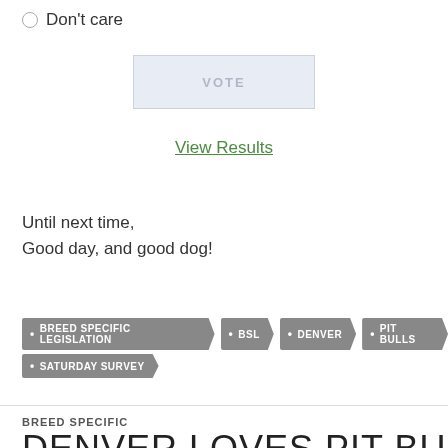Don't care
VOTE
View Results
Until next time,
Good day, and good dog!
BREED SPECIFIC LEGISLATION
BSL
DENVER
PIT BULLS
SATURDAY SURVEY
BREED SPECIFIC
DENVER LOVES PIT BULLS